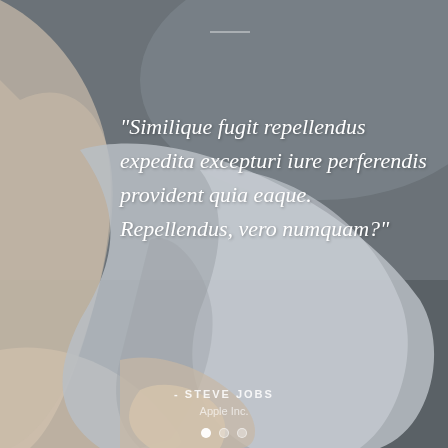[Figure (photo): Background photo of a person's arm and hand holding grey fabric against a dark grey/slate background. The composition shows the arm raised with grey cloth draped over it.]
"Similique fugit repellendus expedita excepturi iure perferendis provident quia eaque. Repellendus, vero numquam?"
- STEVE JOBS
Apple Inc.